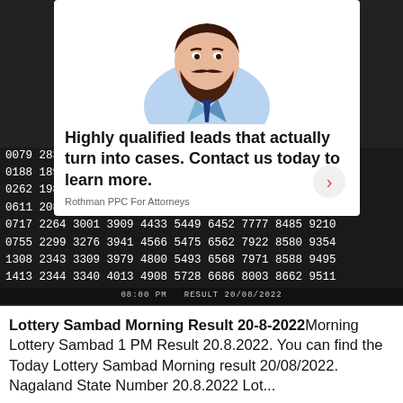[Figure (screenshot): Screenshot of a mobile phone screen showing a lottery results webpage with an advertisement overlay at the top featuring an illustrated man with a beard and text about qualified leads. Below the ad is a dark background with lottery numbers in white monospace font.]
Lottery Sambad Morning Result 20-8-2022 Morning Lottery Sambad 1 PM Result 20.8.2022. You can find the Today Lottery Sambad Morning result 20/08/2022. Nagaland State Number 20.8.2022 Lot...